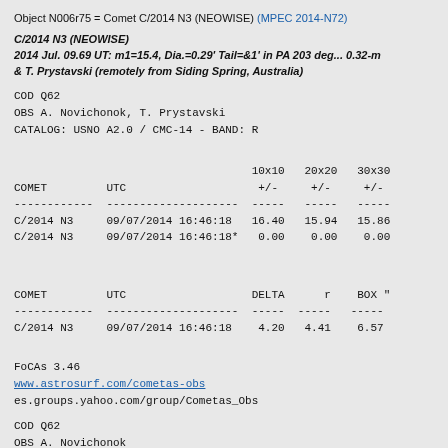Object N006r75 = Comet C/2014 N3 (NEOWISE) (MPEC 2014-N72)
C/2014 N3 (NEOWISE)
2014 Jul. 09.69 UT: m1=15.4, Dia.=0.29' Tail=&1' in PA 203 deg... 0.32-m & T. Prystavski (remotely from Siding Spring, Australia)
COD Q62
OBS A. Novichonok, T. Prystavski
CATALOG: USNO A2.0 / CMC-14 - BAND: R
| COMET | UTC | 10x10 +/- | 20x20 +/- | 30x30 +/- |
| --- | --- | --- | --- | --- |
| C/2014 N3 | 09/07/2014 16:46:18 | 16.40 | 15.94 | 15.86 |
| C/2014 N3 | 09/07/2014 16:46:18* | 0.00 | 0.00 | 0.00 |
| COMET | UTC | DELTA | r | BOX " |
| --- | --- | --- | --- | --- |
| C/2014 N3 | 09/07/2014 16:46:18 | 4.20 | 4.41 | 6.57 |
FoCAs 3.46
www.astrosurf.com/cometas-obs
es.groups.yahoo.com/group/Cometas_Obs
COD Q62
OBS A. Novichonok